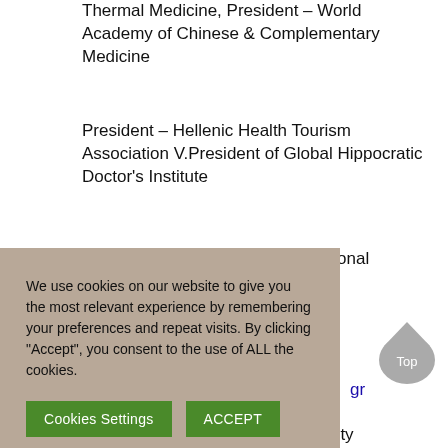Thermal Medicine, President – World Academy of Chinese & Complementary Medicine
President – Hellenic Health Tourism Association V.President of Global Hippocratic Doctor's Institute
f.Gen. Secretary – Ministry of National Education, V. Rector
We use cookies on our website to give you the most relevant experience by remembering your preferences and repeat visits. By clicking "Accept", you consent to the use of ALL the cookies.
gr
Graduate of Medical Military Faculty